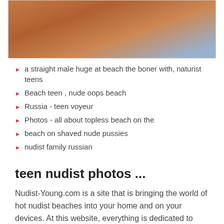[Figure (photo): Cropped photo showing a person at a beach, close-up torso view with blue and white background visible]
a straight male huge at beach the boner with, naturist teens
Beach teen , nude oops beach
Russia - teen voyeur
Photos - all about topless beach on the
beach on shaved nude pussies
nudist family russian
teen nudist photos ...
Nudist-Young.com is a site that is bringing the world of hot nudist beaches into your home and on your devices. At this website, everything is dedicated to those free and uninhibited babes who like to feel the sun kissing their skin everywhere on their bods, not just where the society wants them to. Feast your eyes on some of the hottest